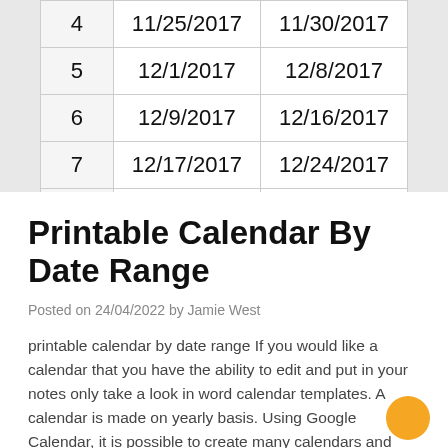| 4 | 11/25/2017 | 11/30/2017 |
| 5 | 12/1/2017 | 12/8/2017 |
| 6 | 12/9/2017 | 12/16/2017 |
| 7 | 12/17/2017 | 12/24/2017 |
| 8 | 12/25/2017 | 1/1/2018 |
Printable Calendar By Date Range
Posted on 24/04/2022 by Jamie West
printable calendar by date range If you would like a calendar that you have the ability to edit and put in your notes only take a look in word calendar templates. A calendar is made on yearly basis. Using Google Calendar, it is possible to create many calendars and have your appointments shown on a…